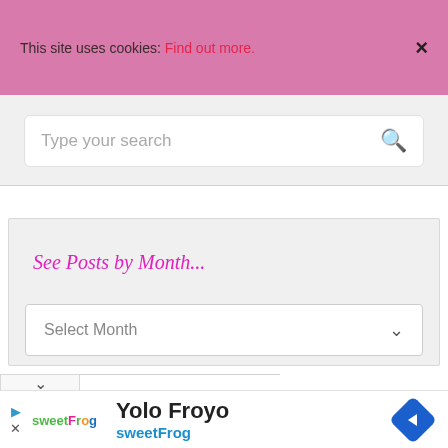This site uses cookies: Find out more.  ×
[Figure (screenshot): Search box with placeholder text 'Type your search' and a magnifying glass icon]
See Posts by Month...
[Figure (screenshot): Dropdown select box with placeholder 'Select Month' and a chevron down icon]
[Figure (screenshot): Ad banner for Yolo Froyo by sweetFrog with logo, navigation icon, and close controls]